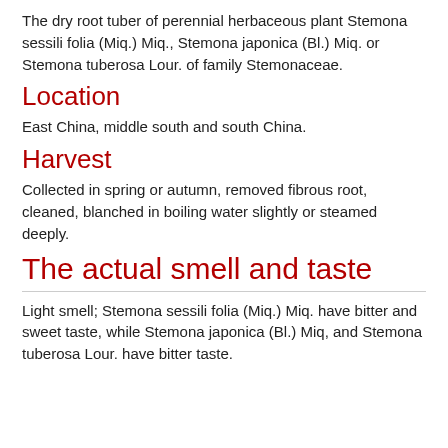The dry root tuber of perennial herbaceous plant Stemona sessili folia (Miq.) Miq., Stemona japonica (Bl.) Miq. or Stemona tuberosa Lour. of family Stemonaceae.
Location
East China, middle south and south China.
Harvest
Collected in spring or autumn, removed fibrous root, cleaned, blanched in boiling water slightly or steamed deeply.
The actual smell and taste
Light smell; Stemona sessili folia (Miq.) Miq. have bitter and sweet taste, while Stemona japonica (Bl.) Miq, and Stemona tuberosa Lour. have bitter taste.